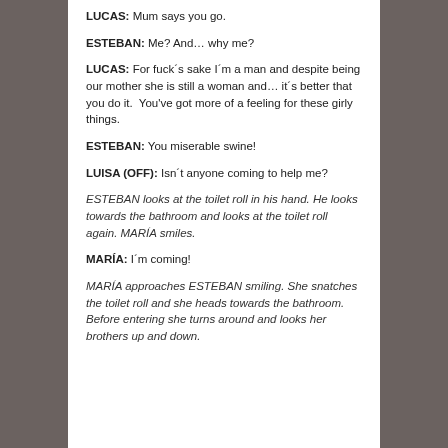LUCAS: Mum says you go.
ESTEBAN: Me? And… why me?
LUCAS: For fuck´s sake I´m a man and despite being our mother she is still a woman and… it´s better that you do it.  You've got more of a feeling for these girly things.
ESTEBAN: You miserable swine!
LUISA (OFF): Isn´t anyone coming to help me?
ESTEBAN looks at the toilet roll in his hand. He looks towards the bathroom and looks at the toilet roll again. MARÍA smiles.
MARÍA: I´m coming!
MARÍA approaches ESTEBAN smiling. She snatches the toilet roll and she heads towards the bathroom. Before entering she turns around and looks her brothers up and down.